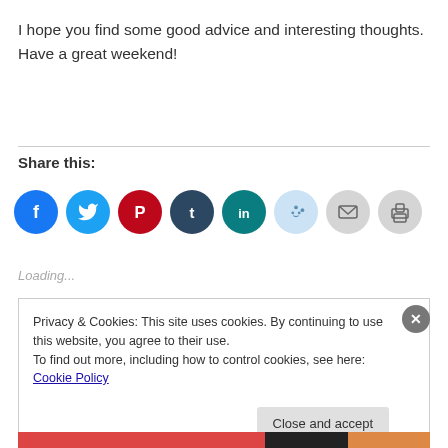I hope you find some good advice and interesting thoughts.  Have a great weekend!
Share this:
[Figure (infographic): Row of social media share icons: Facebook (blue), Twitter (light blue), Pinterest (red), Tumblr (dark blue), LinkedIn (teal/blue), Reddit (light blue), Email (grey), Print (grey)]
Loading...
Privacy & Cookies: This site uses cookies. By continuing to use this website, you agree to their use.
To find out more, including how to control cookies, see here: Cookie Policy
Close and accept